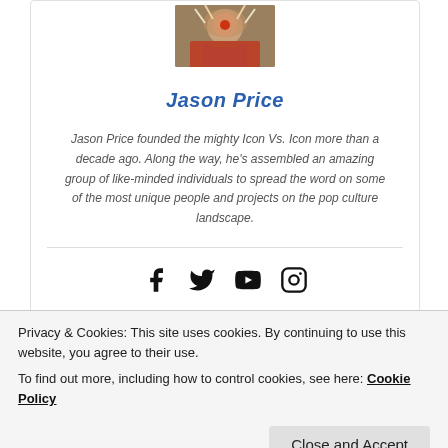[Figure (photo): Profile photo of Jason Price, appears to be a person at an event with colorful costume/makeup]
Jason Price
Jason Price founded the mighty Icon Vs. Icon more than a decade ago. Along the way, he's assembled an amazing group of like-minded individuals to spread the word on some of the most unique people and projects on the pop culture landscape.
[Figure (infographic): Social media icons: Facebook, Twitter, YouTube, Instagram]
[Figure (infographic): Share bar with Twitter, LinkedIn, Pinterest, Facebook buttons and share count of 0]
Privacy & Cookies: This site uses cookies. By continuing to use this website, you agree to their use.
To find out more, including how to control cookies, see here: Cookie Policy
[Figure (screenshot): Yellow bar at bottom with partial dark blue text visible]